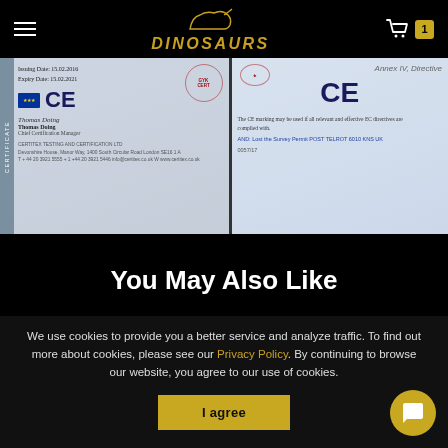DINOSAURS — navigation header with hamburger menu, logo, and cart (1 item)
[Figure (photo): CE certification document left panel — shows issuing date 15.02.2016, expiry date 15.02.2021, EU flag, CE mark, signature of Thomas Doing (Chief Certification Manager), and certifier details at bottom]
[Figure (photo): CE certification document right panel — shows CE mark with red stamp, disclaimer text about EC directives, and contact/reference information]
You May Also Like
We use cookies to provide you a better service and analyze traffic. To find out more about cookies, please see our Privacy Policy. By continuing to browse our website, you agree to our use of cookies.